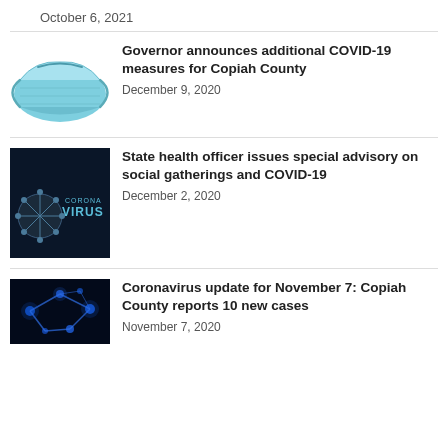October 6, 2021
[Figure (photo): Blue surgical face mask on white background]
Governor announces additional COVID-19 measures for Copiah County
December 9, 2020
[Figure (photo): Dark background with coronavirus molecule graphic and text CORONA VIRUS]
State health officer issues special advisory on social gatherings and COVID-19
December 2, 2020
[Figure (photo): Blue glowing molecular/network structure on dark background]
Coronavirus update for November 7: Copiah County reports 10 new cases
November 7, 2020